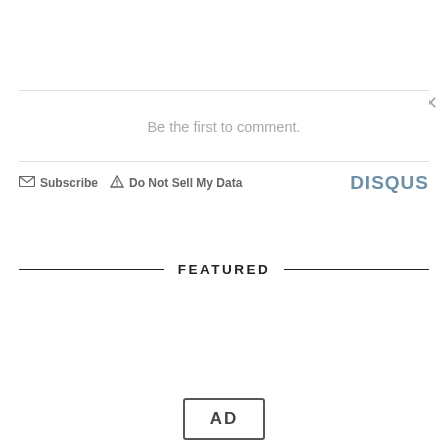Be the first to comment.
Subscribe  Do Not Sell My Data  DISQUS
FEATURED
[Figure (other): AD label box at bottom of page]